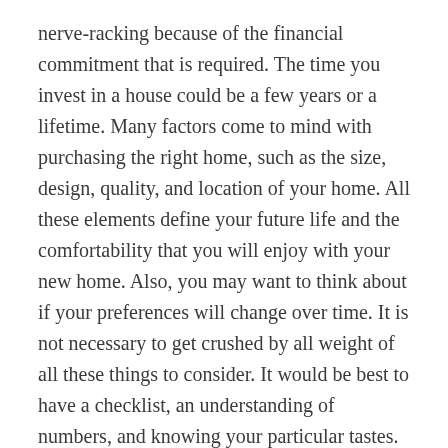nerve-racking because of the financial commitment that is required. The time you invest in a house could be a few years or a lifetime. Many factors come to mind with purchasing the right home, such as the size, design, quality, and location of your home. All these elements define your future life and the comfortability that you will enjoy with your new home. Also, you may want to think about if your preferences will change over time. It is not necessary to get crushed by all weight of all these things to consider. It would be best to have a checklist, an understanding of numbers, and knowing your particular tastes.
Home Aesthetics
The architectural wishes of an individual are the starting line for choosing the perfect home. The best plan to take